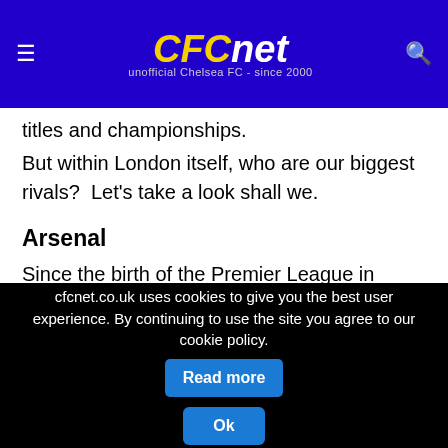CFCnet — unofficial Chelsea FC - since 2000
titles and championships.
But within London itself, who are our biggest rivals?  Let's take a look shall we.
Arsenal
Since the birth of the Premier League in 1992, Arsenal have become known as one of the most successful football teams in not just London, but the whole of the UK. Arsenal have won the Premier League title a total of thirteen times, and also have a number of previous English League achievements to their
cfcnet.co.uk uses cookies to give you the best user experience. By continuing to use the site you agree to our cookie policy.
Read more
Ok